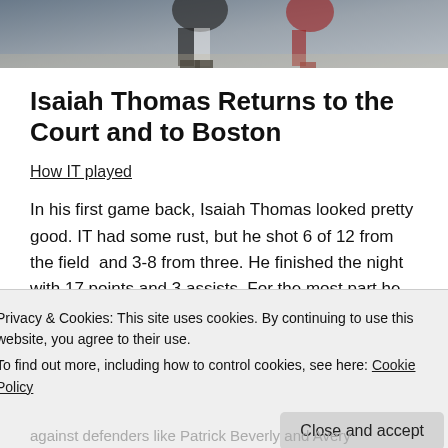[Figure (photo): Basketball players on court, partial view of players mid-action, dark/light jerseys visible]
Isaiah Thomas Returns to the Court and to Boston
How IT played
In his first game back, Isaiah Thomas looked pretty good. IT had some rust, but he shot 6 of 12 from the field  and 3-8 from three. He finished the night with 17 points and 3 assists. For the most part he looked like
Privacy & Cookies: This site uses cookies. By continuing to use this website, you agree to their use.
To find out more, including how to control cookies, see here: Cookie Policy
Close and accept
against defenders like Patrick Beverly and Avery